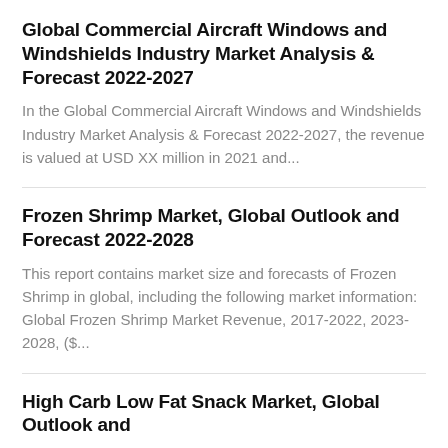Global Commercial Aircraft Windows and Windshields Industry Market Analysis & Forecast 2022-2027
In the Global Commercial Aircraft Windows and Windshields Industry Market Analysis & Forecast 2022-2027, the revenue is valued at USD XX million in 2021 and...
Frozen Shrimp Market, Global Outlook and Forecast 2022-2028
This report contains market size and forecasts of Frozen Shrimp in global, including the following market information: Global Frozen Shrimp Market Revenue, 2017-2022, 2023-2028, ($...
High Carb Low Fat Snack Market, Global Outlook and